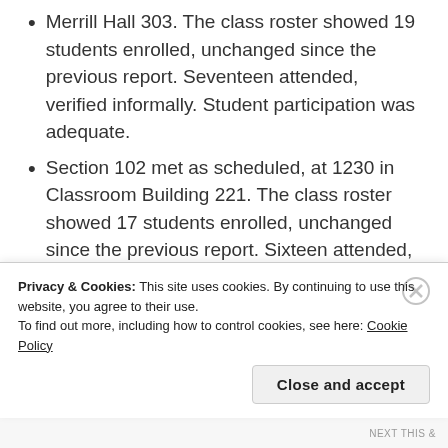Merrill Hall 303. The class roster showed 19 students enrolled, unchanged since the previous report. Seventeen attended, verified informally. Student participation was adequate.
Section 102 met as scheduled, at 1230 in Classroom Building 221. The class roster showed 17 students enrolled, unchanged since the previous report. Sixteen attended, verified informally. Student participation was reasonably good.
No students attended office hours.
Privacy & Cookies: This site uses cookies. By continuing to use this website, you agree to their use. To find out more, including how to control cookies, see here: Cookie Policy